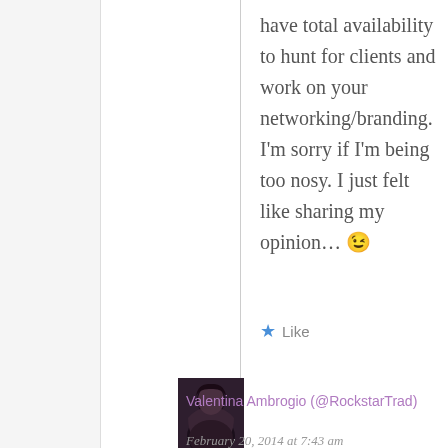have total availability to hunt for clients and work on your networking/branding. I'm sorry if I'm being too nosy. I just felt like sharing my opinion… 😉
★ Like
[Figure (photo): Small square avatar photo of a person with dark hair against dark background]
Valentina Ambrogio (@RockstarTrad)
February 20, 2014 at 7:43 am